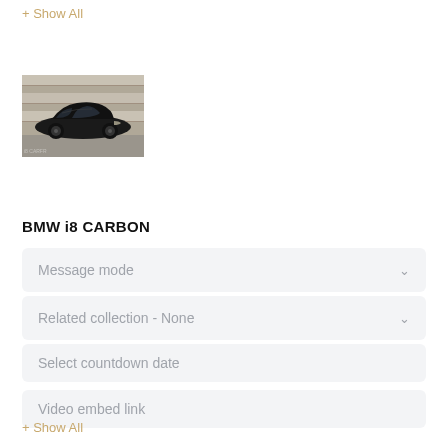+ Show All
[Figure (photo): Black BMW i8 sports car parked in front of a garage door]
BMW i8 CARBON
Message mode
Related collection - None
Select countdown date
Video embed link
+ Show All